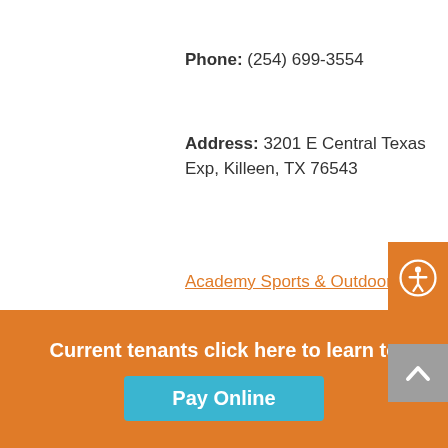(partial link at top)
Phone: (254) 699-3554
Address: 3201 E Central Texas Exp, Killeen, TX 76543
Academy Sports & Outdoors
Phone: (254) 742-7350
Current tenants click here to learn to Pay Online